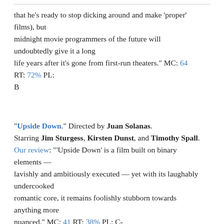that he's ready to stop dicking around and make 'proper' films), but midnight movie programmers of the future will undoubtedly give it a long life years after it's gone from first-run theaters." MC: 64 RT: 72% PL: B
"Upside Down." Directed by Juan Solanas. Starring Jim Sturgess, Kirsten Dunst, and Timothy Spall. Our review: "'Upside Down' is a film built on binary elements — lavishly and ambitiously executed — yet with its laughably undercooked romantic core, it remains foolishly stubborn towards anything more nuanced." MC: 41 RT: 38% PL: C-